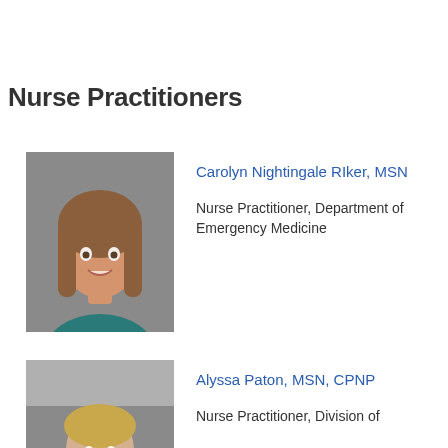Nurse Practitioners
[Figure (photo): Headshot of Carolyn Nightingale Riker, MSN — young woman with long brown hair, smiling, against a gray background]
Carolyn Nightingale RIker, MSN
Nurse Practitioner, Department of Emergency Medicine
[Figure (photo): Headshot of Alyssa Paton, MSN, CPNP — woman with blonde hair pulled back, against a gray background]
Alyssa Paton, MSN, CPNP
Nurse Practitioner, Division of